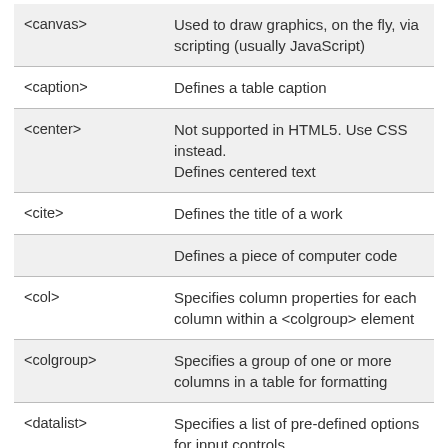| Tag | Description |
| --- | --- |
| <canvas> | Used to draw graphics, on the fly, via scripting (usually JavaScript) |
| <caption> | Defines a table caption |
| <center> | Not supported in HTML5. Use CSS instead.
Defines centered text |
| <cite> | Defines the title of a work |
|  | Defines a piece of computer code |
| <col> | Specifies column properties for each column within a <colgroup> element |
| <colgroup> | Specifies a group of one or more columns in a table for formatting |
| <datalist> | Specifies a list of pre-defined options for input controls |